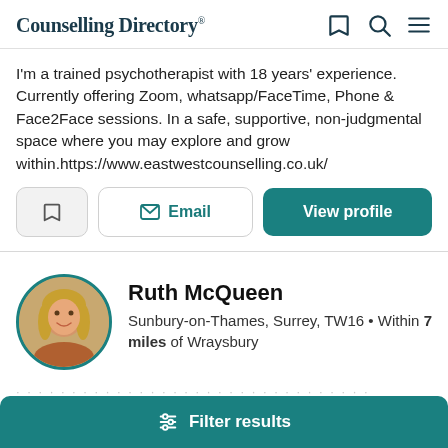Counselling Directory
I'm a trained psychotherapist with 18 years' experience. Currently offering Zoom, whatsapp/FaceTime, Phone & Face2Face sessions. In a safe, supportive, non-judgmental space where you may explore and grow within.https://www.eastwestcounselling.co.uk/
[Figure (screenshot): Three action buttons: bookmark icon button, Email button with envelope icon, and View profile button]
Ruth McQueen
Sunbury-on-Thames, Surrey, TW16 • Within 7 miles of Wraysbury
Filter results